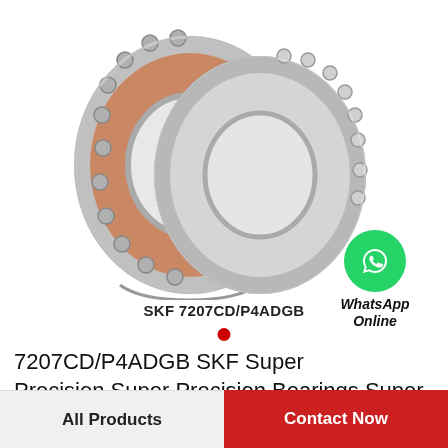[Figure (photo): Two SKF angular contact ball bearings side by side. The left bearing has a bronze/copper-colored cage visible, both have polished steel rings. Product label: SKF 7207CD/P4ADGB]
SKF 7207CD/P4ADGB
[Figure (logo): WhatsApp green circle logo with phone handset icon, labelled 'WhatsApp Online']
7207CD/P4ADGB SKF Super Precision,Super Precision Bearings,Super Precision Angular…
All Products
Contact Now